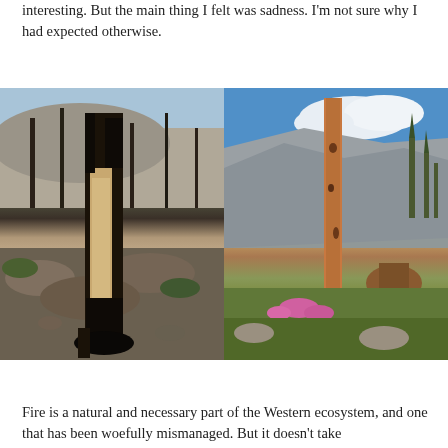interesting. But the main thing I felt was sadness. I'm not sure why I had expected otherwise.
[Figure (photo): Left photo: Charred and fire-damaged tree trunk in foreground, surrounded by burned dead trees and rocky terrain with sparse green undergrowth. Dark scorched bark and exposed wood visible.]
[Figure (photo): Right photo: Reddish-brown dead tree trunk standing tall against a blue sky with white clouds. Rocky mountain background with some surviving green conifers and pink wildflowers at the base.]
Fire is a natural and necessary part of the Western ecosystem, and one that has been woefully mismanaged. But it doesn't take